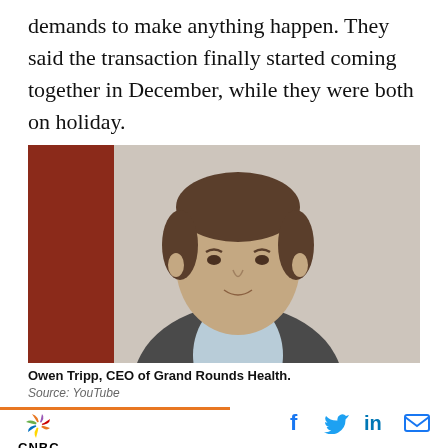demands to make anything happen. They said the transaction finally started coming together in December, while they were both on holiday.
[Figure (photo): Owen Tripp, CEO of Grand Rounds Health, speaking in front of a red panel backdrop]
Owen Tripp, CEO of Grand Rounds Health.
Source: YouTube
CNBC | Facebook | Twitter | LinkedIn | Email